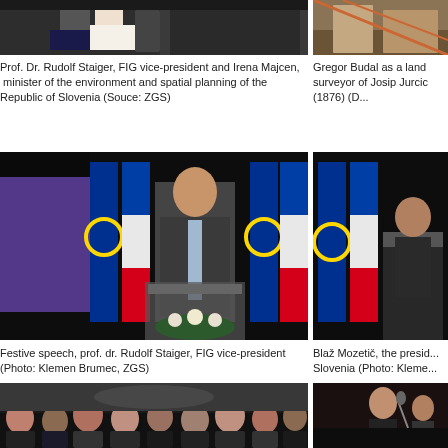[Figure (photo): Prof. Dr. Rudolf Staiger and Irena Majcen shaking hands, formal setting]
Prof. Dr. Rudolf Staiger, FIG vice-president and Irena Majcen, minister of the environment and spatial planning of the Republic of Slovenia (Souce: ZGS)
[Figure (photo): Gregor Budal as a land surveyor portrait, historical image of Josip Jurcic (1876)]
Gregor Budal as a land surveyor of Josip Jurcic (1876) (D...
[Figure (photo): Festive speech by prof. dr. Rudolf Staiger, FIG vice-president at podium with EU and Slovenian flags in background]
Festive speech, prof. dr. Rudolf Staiger, FIG vice-president (Photo: Klemen Brumec, ZGS)
[Figure (photo): Blaž Mozetič speaking at podium with EU and Slovenian flags]
Blaž Mozetič, the president of Slovenia (Photo: Klemen...
[Figure (photo): Audience seated at formal event, viewed from behind]
[Figure (photo): Performer with microphone on stage]